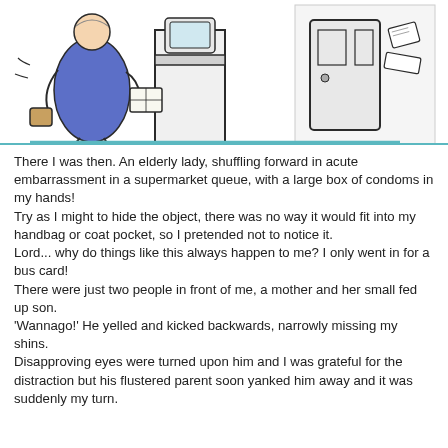[Figure (illustration): Hand-drawn illustration of an elderly lady in a blue dress shuffling forward in a supermarket queue, holding a large box, with a checkout counter and door visible in the background.]
There I was then. An elderly lady, shuffling forward in acute embarrassment in a supermarket queue, with a large box of condoms in my hands!
Try as I might to hide the object, there was no way it would fit into my handbag or coat pocket, so I pretended not to notice it.
Lord... why do things like this always happen to me? I only went in for a bus card!
There were just two people in front of me, a mother and her small fed up son.
'Wannago!' He yelled and kicked backwards, narrowly missing my shins.
Disapproving eyes were turned upon him and I was grateful for the distraction but his flustered parent soon yanked him away and it was suddenly my turn.